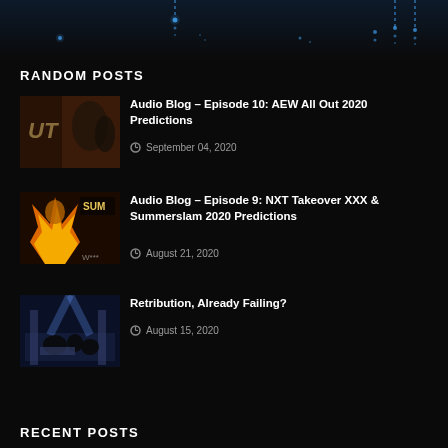[Figure (photo): Dark banner with blue dotted light effects on dark background]
RANDOM POSTS
[Figure (photo): Thumbnail image for AEW All Out 2020 post showing wrestling figures]
Audio Blog - Episode 10: AEW All Out 2020 Predictions
September 04, 2020
[Figure (photo): Thumbnail for NXT Takeover SummerSlam post with flame and character]
Audio Blog - Episode 9: NXT Takeover XXX & Summerslam 2020 Predictions
August 21, 2020
[Figure (photo): Thumbnail for Retribution post showing wrestlers in ring]
Retribution, Already Failing?
August 15, 2020
RECENT POSTS